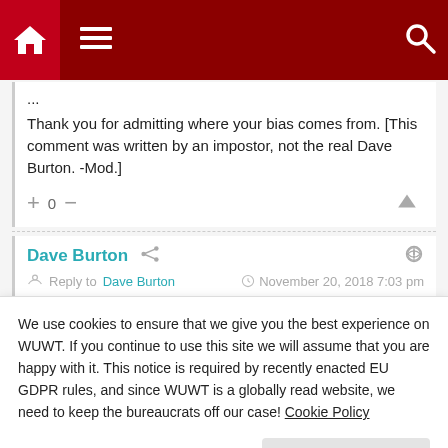WUWT navigation bar with home, menu, and search icons
...
Thank you for admitting where your bias comes from. [This comment was written by an impostor, not the real Dave Burton. -Mod.]
+ 0 −
Dave Burton
Reply to Dave Burton   November 20, 2018 7:03 pm
We use cookies to ensure that we give you the best experience on WUWT. If you continue to use this site we will assume that you are happy with it. This notice is required by recently enacted EU GDPR rules, and since WUWT is a globally read website, we need to keep the bureaucrats off our case! Cookie Policy
Close and accept